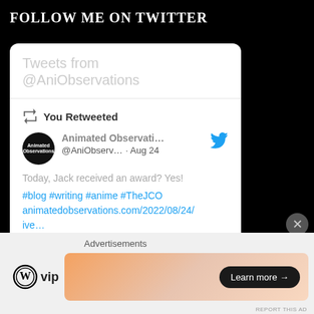FOLLOW ME ON TWITTER
[Figure (screenshot): Twitter widget showing tweets from @AniObservations with a retweet by Animated Observations (@AniObserv...) on Aug 24, with hashtags #blog #writing #anime #TheJCO and link to animatedobservations.com/2022/08/24/ive...]
Advertisements
[Figure (logo): WordPress VIP logo and Learn more ad banner]